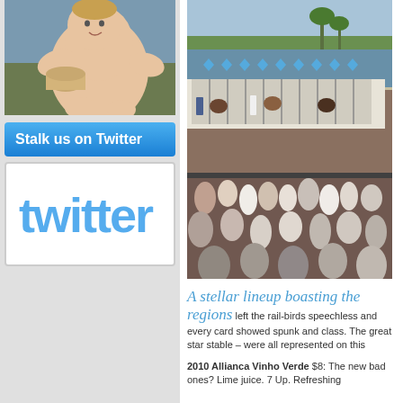[Figure (photo): Classical painting of a chubby cherub or infant figure outdoors]
Stalk us on Twitter
[Figure (logo): Twitter logo in blue cursive text]
[Figure (photo): Horse racing starting gates at a racetrack with spectators watching]
A stellar lineup boasting the regions left the rail-birds speechless and every card showed spunk and class. The great star stable – were all represented on this
2010 Allianca Vinho Verde $8: The new bad ones? Lime juice. 7 Up. Refreshing